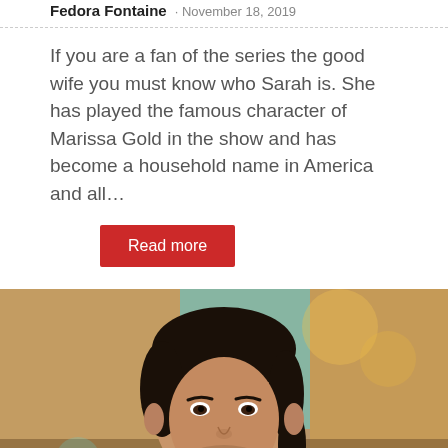Fedora Fontaine · November 18, 2019
If you are a fan of the series the good wife you must know who Sarah is. She has played the famous character of Marissa Gold in the show and has become a household name in America and all…
Read more
[Figure (photo): Portrait photo of Allu Arjun, a South Indian actor, smiling, with blurred colorful background]
Allu Arjun Networth, Movies List, Age,